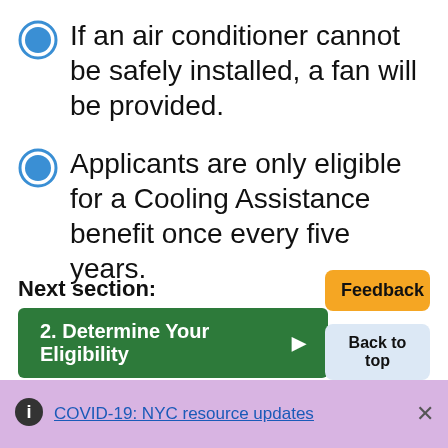If an air conditioner cannot be safely installed, a fan will be provided.
Applicants are only eligible for a Cooling Assistance benefit once every five years.
Next section:
2. Determine Your Eligibility ▶
Feedback
Back to top
COVID-19: NYC resource updates